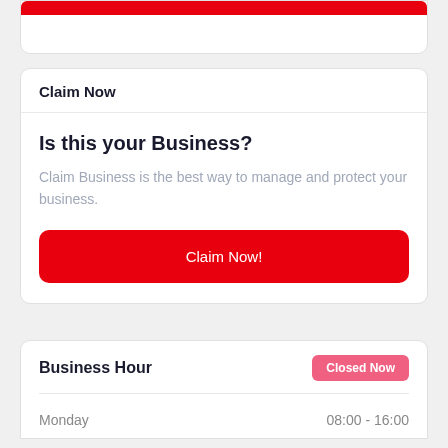Claim Now
Is this your Business?
Claim Business is the best way to manage and protect your business.
Claim Now!
Business Hour
Closed Now
Monday   08:00 - 16:00